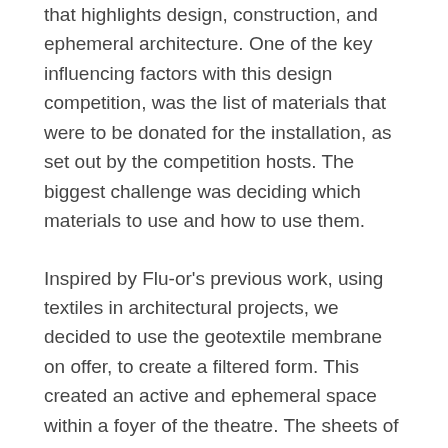that highlights design, construction, and ephemeral architecture. One of the key influencing factors with this design competition, was the list of materials that were to be donated for the installation, as set out by the competition hosts. The biggest challenge was deciding which materials to use and how to use them.
Inspired by Flu-or's previous work, using textiles in architectural projects, we decided to use the geotextile membrane on offer, to create a filtered form. This created an active and ephemeral space within a foyer of the theatre. The sheets of geotextile responding to the heat and turbulence of audiences as they moved below.
Meanwhile on ground level, a set of modular furniture components, set on wheels, were available, to create a